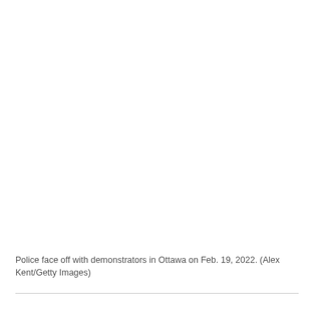[Figure (photo): Large photograph of police facing off with demonstrators in Ottawa on Feb. 19, 2022. The image area is mostly white/blank in this rendering.]
Police face off with demonstrators in Ottawa on Feb. 19, 2022. (Alex Kent/Getty Images)